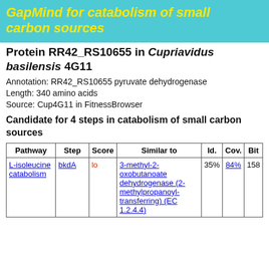GapMind for catabolism of small carbon sources
Protein RR42_RS10655 in Cupriavidus basilensis 4G11
Annotation: RR42_RS10655 pyruvate dehydrogenase
Length: 340 amino acids
Source: Cup4G11 in FitnessBrowser
Candidate for 4 steps in catabolism of small carbon sources
| Pathway | Step | Score | Similar to | Id. | Cov. | Bit |
| --- | --- | --- | --- | --- | --- | --- |
| L-isoleucine catabolism | bkdA | lo | 3-methyl-2-oxobutanoate dehydrogenase (2-methylpropanoyl-transferring) (EC 1.2.4.4) | 35% | 84% | 158 |